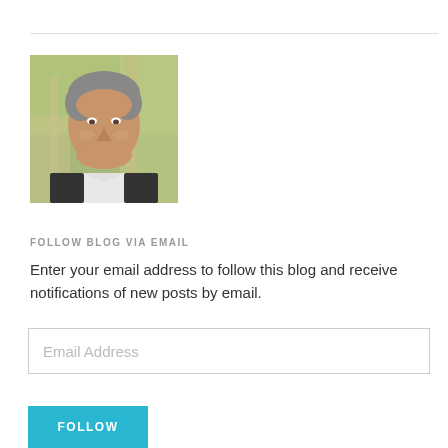[Figure (photo): Headshot of a middle-aged man with grey hair, smiling, wearing a dark jacket and light shirt, photographed outdoors with a blurred green background.]
FOLLOW BLOG VIA EMAIL
Enter your email address to follow this blog and receive notifications of new posts by email.
Email Address
FOLLOW